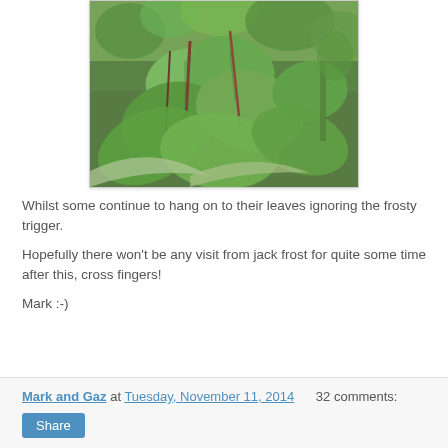[Figure (photo): Photograph of lush green garden plants with large tropical-looking leaves in various shades of green]
Whilst some continue to hang on to their leaves ignoring the frosty trigger.
Hopefully there won't be any visit from jack frost for quite some time after this, cross fingers!
Mark :-)
Mark and Gaz at Tuesday, November 11, 2014   32 comments:  Share